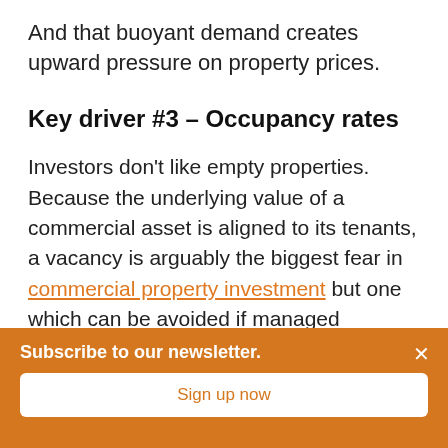And that buoyant demand creates upward pressure on property prices.
Key driver #3 – Occupancy rates
Investors don't like empty properties. Because the underlying value of a commercial asset is aligned to its tenants, a vacancy is arguably the biggest fear in commercial property investment but one which can be avoided if managed correctly.
Subscribe to our newsletter.
Sign up now